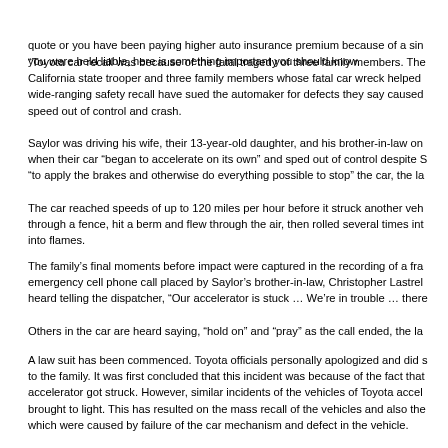quote or you have been paying higher auto insurance premium because of a similar incident where you were held liable, here is something important you should know.
“Toyota car recall was because of the fatal tragedy of three family members. The family of a California state trooper and three family members whose fatal car wreck helped spur Toyota’s wide-ranging safety recall have sued the automaker for defects they say caused their vehicle to speed out of control and crash.
Saylor was driving his wife, their 13-year-old daughter, and his brother-in-law on August 28, when their car “began to accelerate on its own” and sped out of control despite Saylor’s attempts “to apply the brakes and otherwise do everything possible to stop” the car, the lawsuit said.
The car reached speeds of up to 120 miles per hour before it struck another vehicle, crashed through a fence, hit a berm and flew through the air, then rolled several times into a ravine and burst into flames.
The family’s final moments before impact were captured in the recording of a frantic emergency cell phone call placed by Saylor’s brother-in-law, Christopher Lastrella. He is heard telling the dispatcher, “Our accelerator is stuck … We’re in trouble … there’s no brakes”
Others in the car are heard saying, “hold on” and “pray” as the call ended, the lawsuit said.
A law suit has been commenced. Toyota officials personally apologized and did show compassion to the family. It was first concluded that this incident was because of the fact that the floor mat accelerator got struck. However, similar incidents of the vehicles of Toyota accelerating were brought to light. This has resulted on the mass recall of the vehicles and also the similar lawsuits which were caused by failure of the car mechanism and defect in the vehicle.